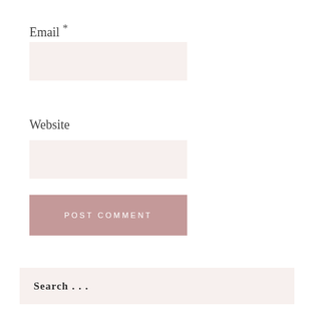Email *
[Figure (other): Email input field box, light pinkish-cream background, no border]
Website
[Figure (other): Website input field box, light pinkish-cream background, no border]
[Figure (other): POST COMMENT button, dusty rose/mauve background color, white uppercase spaced text]
[Figure (other): Search bar with placeholder text 'Search ...' in bold, light pinkish-cream background]